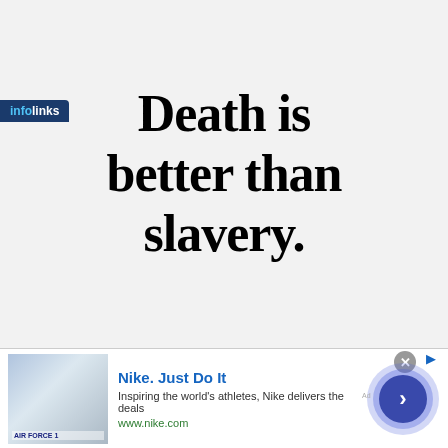Death is better than slavery.
[Figure (screenshot): Infolinks badge in bottom-left corner of the main content area]
[Figure (screenshot): Nike advertisement banner with shoe image, title 'Nike. Just Do It', description 'Inspiring the world's athletes, Nike delivers the deals', URL 'www.nike.com', and a blue circular arrow button. Close button (X) top right.]